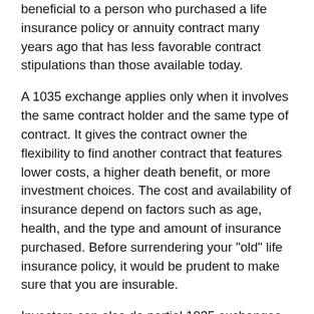beneficial to a person who purchased a life insurance policy or annuity contract many years ago that has less favorable contract stipulations than those available today.
A 1035 exchange applies only when it involves the same contract holder and the same type of contract. It gives the contract owner the flexibility to find another contract that features lower costs, a higher death benefit, or more investment choices. The cost and availability of insurance depend on factors such as age, health, and the type and amount of insurance purchased. Before surrendering your "old" life insurance policy, it would be prudent to make sure that you are insurable.
Investors can also do partial 1035 exchanges for a portion of the total contract amount. In this case, the transferring company should notify the new company of the exchange amount that is investment versus gain, because any gain is subject to ordinary income taxes when withdrawn. Some companies do not recognize partial 1035 exchanges for tax reporting purposes. A tax professional should be consulted